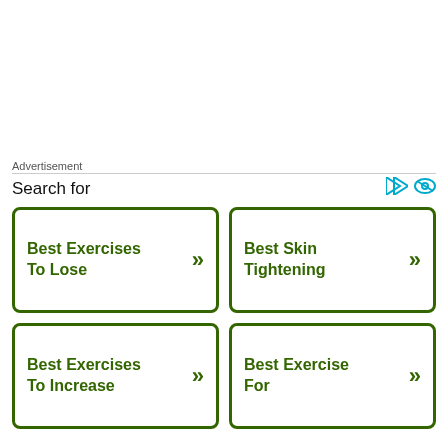Advertisement
Search for
Best Exercises To Lose
Best Skin Tightening
Best Exercises To Increase
Best Exercise For